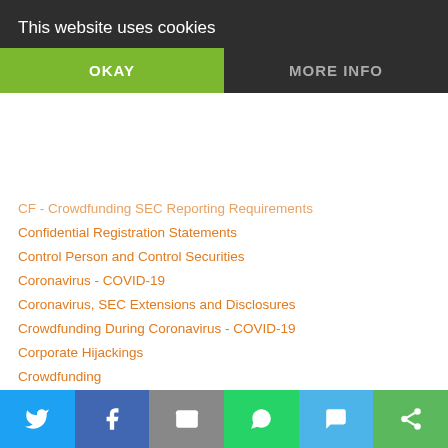This website uses cookies
CF - Crowdfunding SEC Reporting Requirements
Confidential Registration Statements
Control Person and Control Securities
Coronavirus - COVID-19
Coronavirus, SEC Extensions and Disclosures
Crowdfunding During Coronavirus - COVID-19
Corporate Hijackings
Crowdfunding
Crowdfunding Portals and Platforms
Direct Public Offering
Direct Public Offering Attorneys
Direct Public Offering SEC Reporting
Dormant Issuers
Draft Registration Statements
DTC Chills and Global Locks
DTC Eligibility
Dual Listing OTC Markets OTCQX
Due Diligence
Equity Crowdfunding